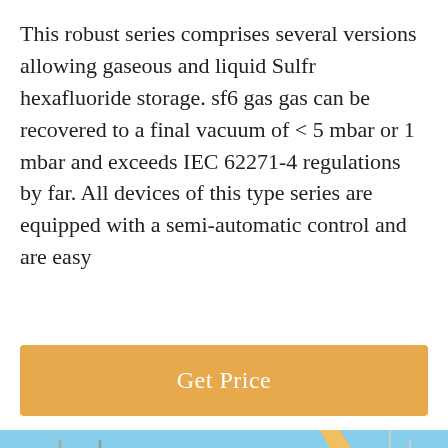This robust series comprises several versions allowing gaseous and liquid Sulfr hexafluoride storage. sf6 gas gas can be recovered to a final vacuum of < 5 mbar or 1 mbar and exceeds IEC 62271-4 regulations by far. All devices of this type series are equipped with a semi-automatic control and are easy
[Figure (other): Orange 'Get Price' button with white text on an orange/amber background]
[Figure (photo): Industrial electrical substation with tall metal transmission tower structures against a blue sky, with yellow heavy equipment/crane in the foreground. A customer service representative avatar is shown at the bottom center.]
Leave Message
Chat Online